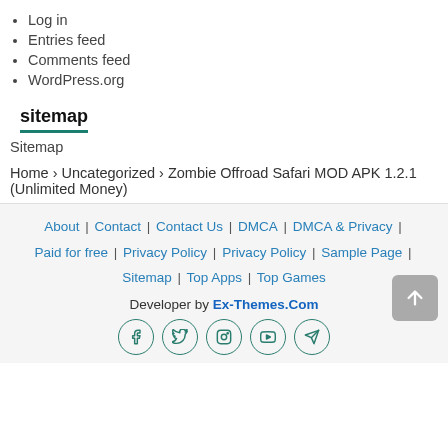Log in
Entries feed
Comments feed
WordPress.org
sitemap
Sitemap
Home › Uncategorized › Zombie Offroad Safari MOD APK 1.2.1 (Unlimited Money)
About | Contact | Contact Us | DMCA | DMCA & Privacy | Paid for free | Privacy Policy | Privacy Policy | Sample Page | Sitemap | Top Apps | Top Games
Developer by Ex-Themes.Com